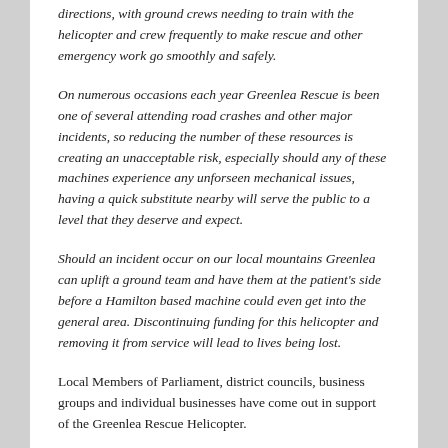directions, with ground crews needing to train with the helicopter and crew frequently to make rescue and other emergency work go smoothly and safely.
On numerous occasions each year Greenlea Rescue is been one of several attending road crashes and other major incidents, so reducing the number of these resources is creating an unacceptable risk, especially should any of these machines experience any unforseen mechanical issues, having a quick substitute nearby will serve the public to a level that they deserve and expect.
Should an incident occur on our local mountains Greenlea can uplift a ground team and have them at the patient's side before a Hamilton based machine could even get into the general area. Discontinuing funding for this helicopter and removing it from service will lead to lives being lost.
Local Members of Parliament, district councils, business groups and individual businesses have come out in support of the Greenlea Rescue Helicopter.